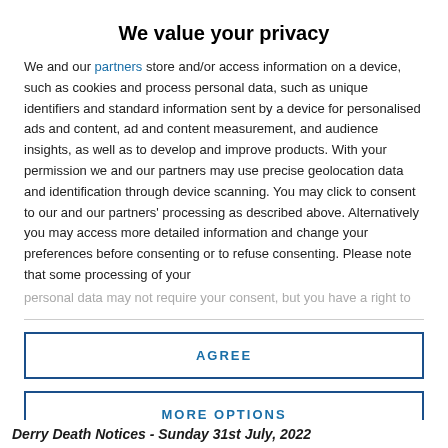We value your privacy
We and our partners store and/or access information on a device, such as cookies and process personal data, such as unique identifiers and standard information sent by a device for personalised ads and content, ad and content measurement, and audience insights, as well as to develop and improve products. With your permission we and our partners may use precise geolocation data and identification through device scanning. You may click to consent to our and our partners' processing as described above. Alternatively you may access more detailed information and change your preferences before consenting or to refuse consenting. Please note that some processing of your personal data may not require your consent, but you have a right to
AGREE
MORE OPTIONS
Derry Death Notices - Sunday 31st July, 2022